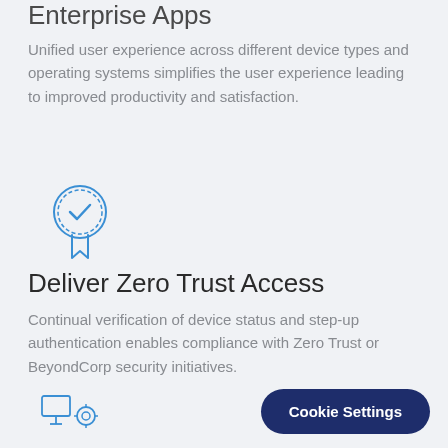Enterprise Apps
Unified user experience across different device types and operating systems simplifies the user experience leading to improved productivity and satisfaction.
[Figure (illustration): Blue badge/medal icon with a checkmark and ribbon, representing certification or trust.]
Deliver Zero Trust Access
Continual verification of device status and step-up authentication enables compliance with Zero Trust or BeyondCorp security initiatives.
[Figure (illustration): Small icon at bottom left showing devices or settings symbols.]
Cookie Settings